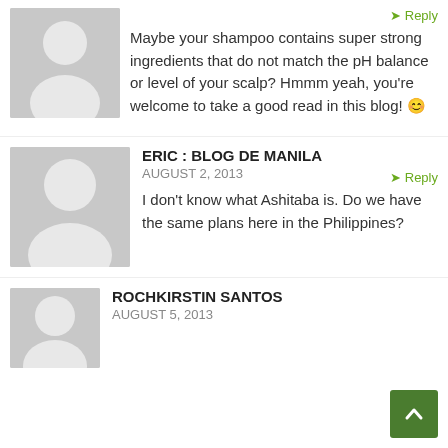[Figure (illustration): Gray placeholder avatar silhouette (person icon), top left, partial view]
Reply
Maybe your shampoo contains super strong ingredients that do not match the pH balance or level of your scalp? Hmmm yeah, you're welcome to take a good read in this blog! 😊
[Figure (illustration): Gray placeholder avatar silhouette (person icon), second comment]
ERIC : BLOG DE MANILA
AUGUST 2, 2013
Reply
I don't know what Ashitaba is. Do we have the same plans here in the Philippines?
[Figure (illustration): Gray placeholder avatar silhouette (person icon), third comment, partial view]
ROCHKIRSTIN SANTOS
AUGUST 5, 2013